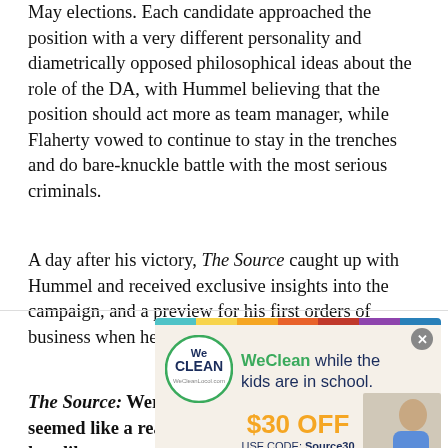May elections. Each candidate approached the position with a very different personality and diametrically opposed philosophical ideas about the role of the DA, with Hummel believing that the position should act more as team manager, while Flaherty vowed to continue to stay in the trenches and do bare-knuckle battle with the most serious criminals.
A day after his victory, The Source caught up with Hummel and received exclusive insights into the campaign, and a preview for his first orders of business when he takes office.
The Source: Were you surprised at the results? It seemed like a really tight race, but you won pretty handily.
[Figure (infographic): WeClean advertisement banner with colorful top bar, We Clean logo in circle, text 'WeClean while the kids are in school. $30 OFF USE CODE: Source30', Book Now button, and photo of a woman cleaning]